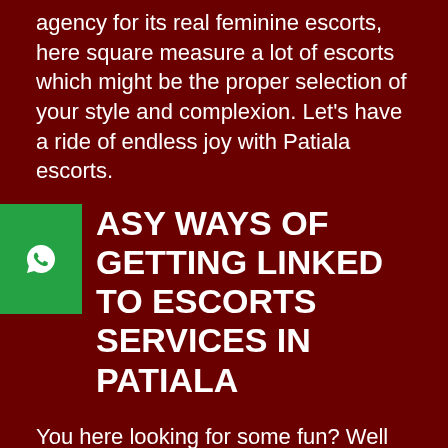agency for its real feminine escorts, here square measure a lot of escorts which might be the proper selection of your style and complexion. Let's have a ride of endless joy with Patiala escorts.
EASY WAYS OF GETTING LINKED TO ESCORTS SERVICES IN PATIALA
You here looking for some fun? Well good to have met you. I am looking for the same. However, I am not looking forward to be pleased myself. Instead I work towards pleasing other people. I am here to